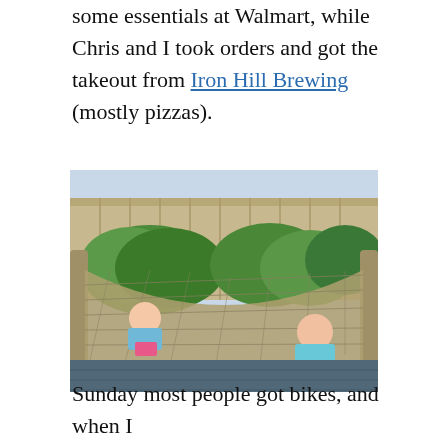some essentials at Walmart, while Chris and I took orders and got the takeout from Iron Hill Brewing (mostly pizzas).
[Figure (photo): Two girls lying in a rope hammock on a backyard deck. Behind them is a wooden fence and green shrubs. One girl wears a floral top and pink shorts; the other wears a blue patterned dress.]
Sunday most people got bikes, and when I